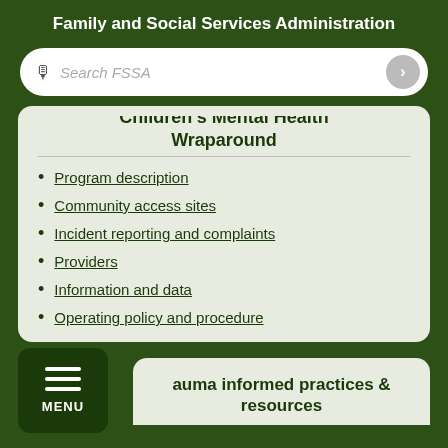Family and Social Services Administration
Children's Mental Health Wraparound
Program description
Community access sites
Incident reporting and complaints
Providers
Information and data
Operating policy and procedure
auma informed practices & resources